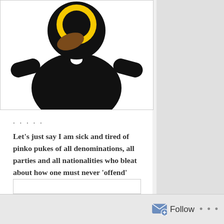[Figure (illustration): A cartoon-style illustrated figure wearing a black outfit with a yellow circular face/head element, against a white background.]
. . . . .
Let’s just say I am sick and tired of pinko pukes of all denominations, all parties and all nationalities who bleat about how one must never ‘offend’ ethnic or religious or ‘gender’ minorities, yet who simultaneously, sedulously, go out of their way to offend US!
And by ‘us,’ I include all the Christian Italians in Cremona for whom a priggish clown, ‘Father’ Sante Braggie, has shown utter contempt, OFFENDING even the priest who previously ministered to the same congregation....
–